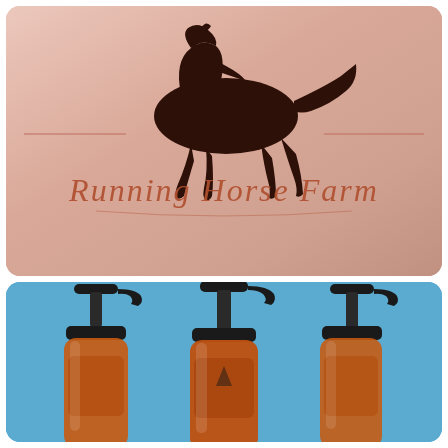[Figure (logo): Running Horse Farm logo: dark brown silhouette of a galloping horse centered above cursive text 'Running Horse Farm' in copper/brown color, on a soft rose-to-blush pink gradient background with decorative horizontal lines flanking the horse]
[Figure (photo): Three amber/orange pump-top lotion or soap bottles with black pump dispensers, arranged side by side on a light blue background, cropped so only the top halves of the bottles and pumps are fully visible]